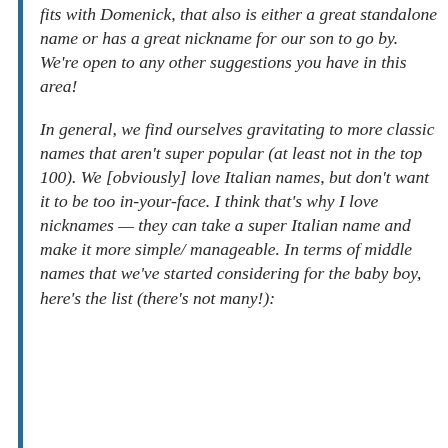fits with Domenick, that also is either a great standalone name or has a great nickname for our son to go by. We're open to any other suggestions you have in this area!
In general, we find ourselves gravitating to more classic names that aren't super popular (at least not in the top 100). We [obviously] love Italian names, but don't want it to be too in-your-face. I think that's why I love nicknames — they can take a super Italian name and make it more simple/ manageable. In terms of middle names that we've started considering for the baby boy, here's the list (there's not many!):